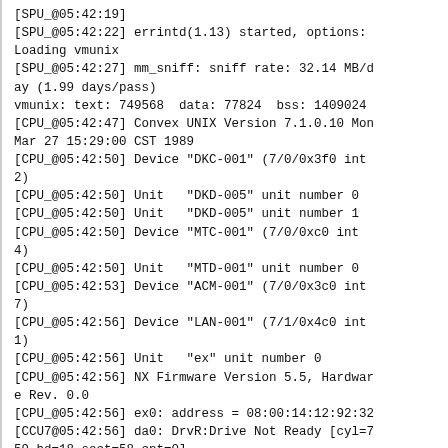[SPU_@05:42:19]
[SPU_@05:42:22] errintd(1.13) started, options:
Loading vmunix
[SPU_@05:42:27] mm_sniff: sniff rate: 32.14 MB/day (1.99 days/pass)
vmunix: text: 749568  data: 77824  bss: 1409024
[CPU_@05:42:47] Convex UNIX Version 7.1.0.10 Mon Mar 27 15:29:00 CST 1989
[CPU_@05:42:50] Device "DKC-001" (7/0/0x3f0 int 2)
[CPU_@05:42:50] Unit   "DKD-005" unit number 0
[CPU_@05:42:50] Unit   "DKD-005" unit number 1
[CPU_@05:42:50] Device "MTC-001" (7/0/0xc0 int 4)
[CPU_@05:42:50] Unit   "MTD-001" unit number 0
[CPU_@05:42:53] Device "ACM-001" (7/0/0x3c0 int 7)
[CPU_@05:42:56] Device "LAN-001" (7/1/0x4c0 int 1)
[CPU_@05:42:56] Unit   "ex" unit number 0
[CPU_@05:42:56] NX Firmware Version 5.5, Hardware Rev. 0.0
[CPU_@05:42:56] ex0: address = 08:00:14:12:92:32
[CCU7@05:42:56] da0: DrvR:Drive Not Ready [cyl=759 hd=18 sect=58 cnt=0]